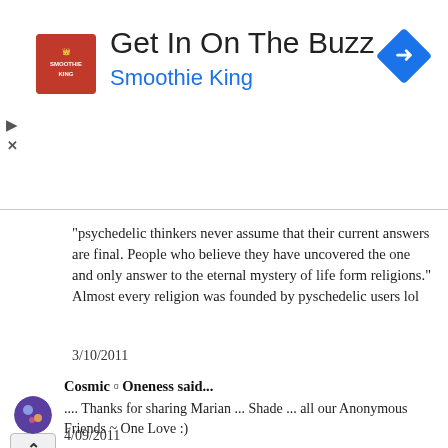[Figure (logo): Smoothie King advertisement banner with logo, 'Get In On The Buzz' heading, 'Smoothie King' subtitle in blue, and a blue diamond direction icon on the right.]
"psychedelic thinkers never assume that their current answers are final. People who believe they have uncovered the one and only answer to the eternal mystery of life form religions." Almost every religion was founded by pyschedelic users lol
3/10/2011
Cosmic ▫ Oneness said...
.... Thanks for sharing Marian ... Shade ... all our Anonymous Friends ~ One Love :)
4/09/2011
Anonymous said...
Nice article. I consider myself a psychedelic thinker - mostly through the use of meditation - but